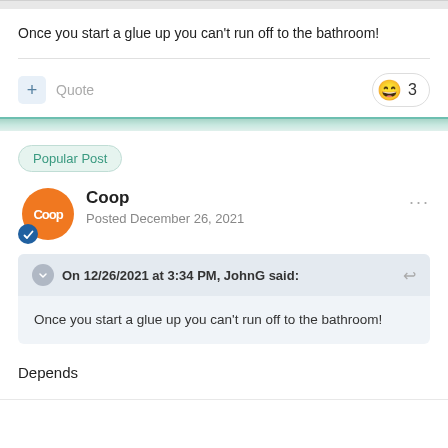Once you start a glue up you can’t run off to the bathroom!
Quote
Popular Post
Coop
Posted December 26, 2021
On 12/26/2021 at 3:34 PM, JohnG said:
Once you start a glue up you can’t run off to the bathroom!
Depends